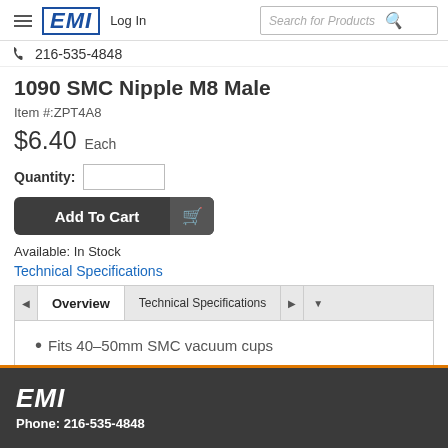EMI  Log In  Search for Products  216-535-4848
1090 SMC Nipple M8 Male
Item #:ZPT4A8
$6.40 Each
Quantity:
Add To Cart
Available: In Stock
Technical Specifications
Overview  Technical Specifications
Fits 40–50mm SMC vacuum cups
EMI  Phone: 216-535-4848